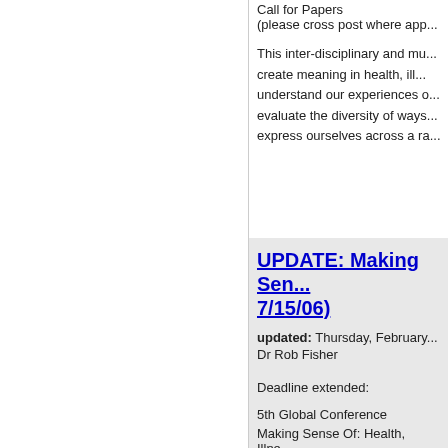Call for Papers
(please cross post where app...
This inter-disciplinary and mu... create meaning in health, ill... understand our experiences o... evaluate the diversity of ways... express ourselves across a ra...
UPDATE: Making Sen... 7/15/06)
updated: Thursday, February... Dr Rob Fisher
Deadline extended:
5th Global Conference
Making Sense Of: Health, Illne...